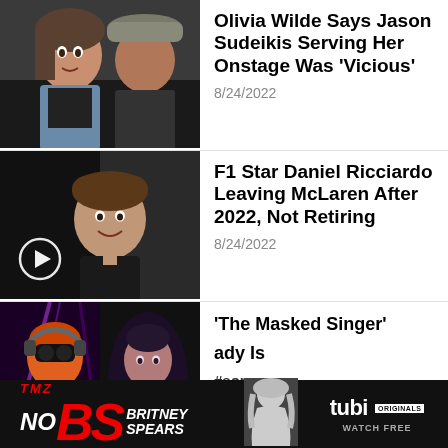[Figure (photo): Photo of Olivia Wilde and Jason Sudeikis together in a car]
Olivia Wilde Says Jason Sudeikis Serving Her Onstage Was 'Vicious'
8/24/2022
[Figure (photo): Photo of Daniel Ricciardo with a video play button overlay]
F1 Star Daniel Ricciardo Leaving McLaren After 2022, Not Retiring
8/24/2022
[Figure (photo): Photo of masked singer performers on stage with purple lighting]
'The Masked Singer'
ady Is
#someone
8/24/2022
[Figure (advertisement): TMZ No BS Britney Spears advertisement banner with Tubi Originals Watch Free branding]